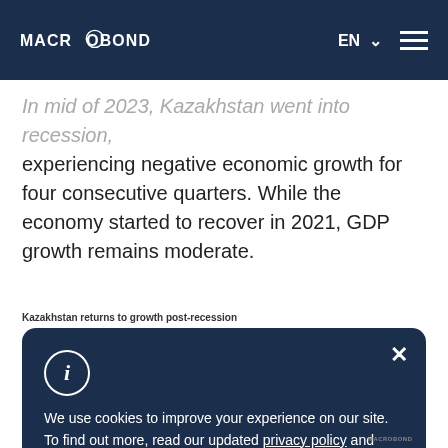MACROBOND
In mid of 2023, Kazakhstan went into recession, experiencing negative economic growth for four consecutive quarters. While the economy started to recover in 2021, GDP growth remains moderate.
Kazakhstan returns to growth post-recession
We use cookies to improve your experience on our site. To find out more, read our updated privacy policy and cookie policy.
MACROBOND